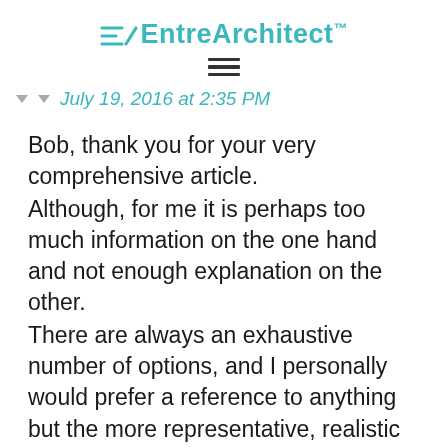EntreArchitect™
July 19, 2016 at 2:35 PM
Bob, thank you for your very comprehensive article. Although, for me it is perhaps too much information on the one hand and not enough explanation on the other. There are always an exhaustive number of options, and I personally would prefer a reference to anything but the more representative, realistic options. Those of us who are unfamiliar with abbreviated